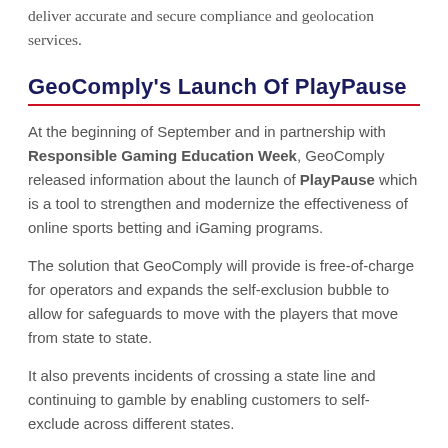deliver accurate and secure compliance and geolocation services.
GeoComply's Launch Of PlayPause
At the beginning of September and in partnership with Responsible Gaming Education Week, GeoComply released information about the launch of PlayPause which is a tool to strengthen and modernize the effectiveness of online sports betting and iGaming programs.
The solution that GeoComply will provide is free-of-charge for operators and expands the self-exclusion bubble to allow for safeguards to move with the players that move from state to state.
It also prevents incidents of crossing a state line and continuing to gamble by enabling customers to self-exclude across different states.